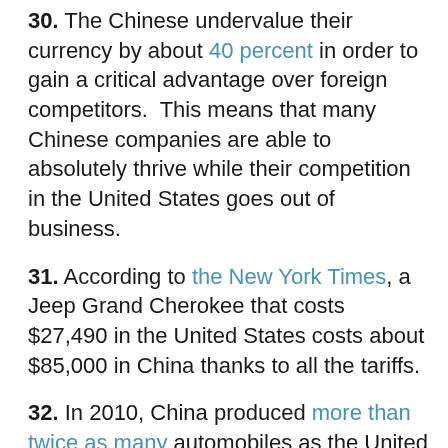30. The Chinese undervalue their currency by about 40 percent in order to gain a critical advantage over foreign competitors. This means that many Chinese companies are able to absolutely thrive while their competition in the United States goes out of business.
31. According to the New York Times, a Jeep Grand Cherokee that costs $27,490 in the United States costs about $85,000 in China thanks to all the tariffs.
32. In 2010, China produced more than twice as many automobiles as the United States did.
33. Since the auto industry bailout, approximately 70 percent of all GM vehicles have been built outside the United States.